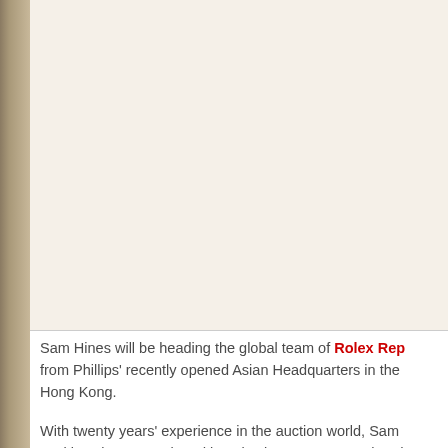Sam Hines will be heading the global team of Rolex Rep from Phillips' recently opened Asian Headquarters in the Hong Kong.
With twenty years' experience in the auction world, Sam positions in New York and in Asia since 2008, spearhead breaking sales of Important Watches throughout the glob appointed International Co-Head of the Watches Depart house, which, throughout his time, was world-leading in watches and wristwatches.
From Hong Kong Sam will lead the existing team of Inte Specialists in Geneva, London and New York with Aurel continuing to work exclusively with the department as Se